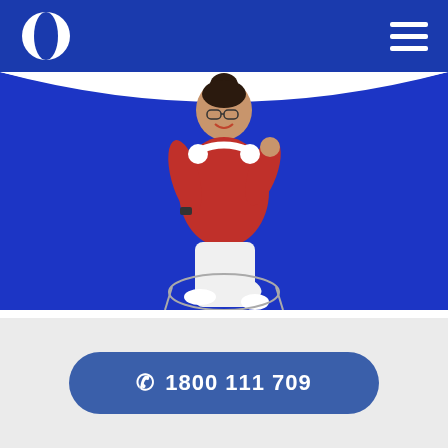[Figure (logo): White oval/lens-shaped logo on blue header background]
[Figure (photo): Young woman with headphones around her neck, wearing a red top and white pants, sitting in a wire chair against a royal blue background, smiling]
☎ 1800 111 709